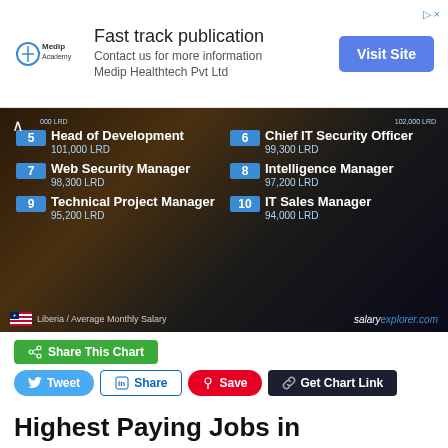[Figure (infographic): Ad banner for Medip Academy / Medip Healthtech Pvt Ltd with text 'Fast track publication' and a 'Visit Site' button]
[Figure (infographic): Salary explorer infographic showing top 10 highest paying IT jobs in Liberia. Items 5-10 visible: 5. Head of Development 101,000 LRD, 6. Chief IT Security Officer 99,300 LRD, 7. Web Security Manager 98,300 LRD, 8. Intelligence Manager 97,200 LRD, 9. Technical Project Manager 95,200 LRD, 10. IT Sales Manager 94,000 LRD. Source: salaryexplorer.com]
Share This Chart
Tweet | Share | Save | Get Chart Link
Highest Paying Jobs in Information Technology
Chief Information Officer (117,000 LRD)